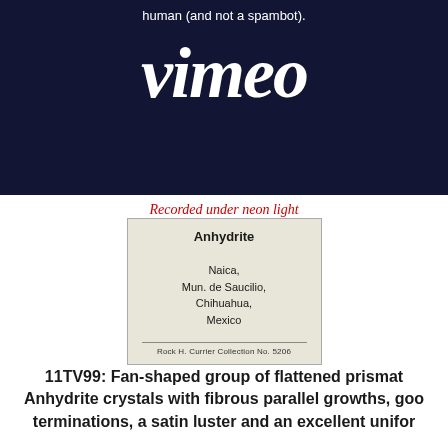[Figure (screenshot): Vimeo logo on dark navy background with text 'human (and not a spambot).' at top]
Recorded under neon light
[Figure (photo): Mineral label card for Anhydrite from Naica, Mun. de Saucilio, Chihuahua, Mexico. Rock H. Currier Collection No. 5206]
11TV99: Fan-shaped group of flattened prismat... Anhydrite crystals with fibrous parallel growths, goo... terminations, a satin luster and an excellent unifor...